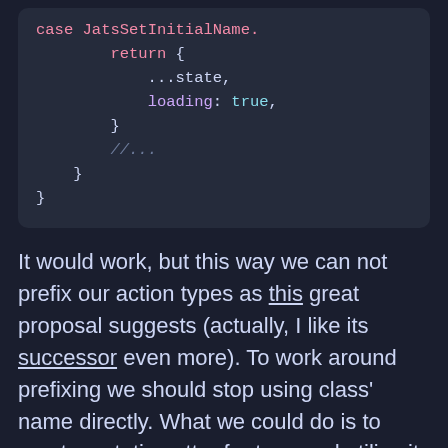[Figure (screenshot): Code block showing a Redux reducer snippet with return { ...state, loading: true } and a comment //...]
It would work, but this way we can not prefix our action types as this great proposal suggests (actually, I like its successor even more). To work around prefixing we should stop using class' name directly. What we could do is to create a static getter for type and utilize it.